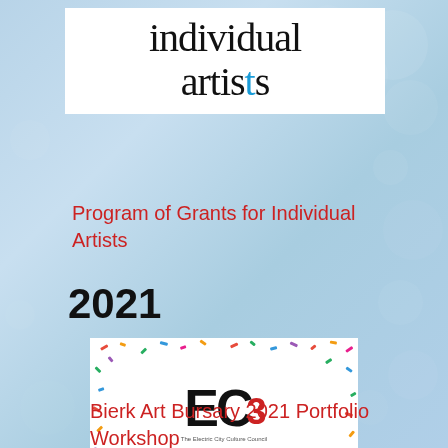[Figure (logo): Individual Artists logo with stylized text, 't' in blue]
Program of Grants for Individual Artists
2021
[Figure (logo): EC3 The Electric City Culture Council logo with confetti background]
Bierk Art Bursary 2021 Portfolio Workshop